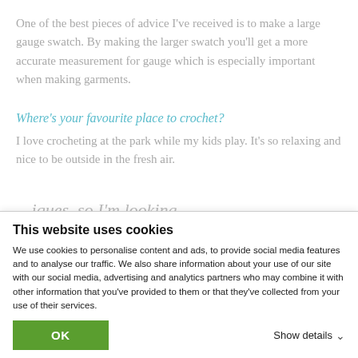One of the best pieces of advice I've received is to make a large gauge swatch. By making the larger swatch you'll get a more accurate measurement for gauge which is especially important when making garments.
Where's your favourite place to crochet?
I love crocheting at the park while my kids play. It's so relaxing and nice to be outside in the fresh air.
This website uses cookies
We use cookies to personalise content and ads, to provide social media features and to analyse our traffic. We also share information about your use of our site with our social media, advertising and analytics partners who may combine it with other information that you've provided to them or that they've collected from your use of their services.
OK
Show details